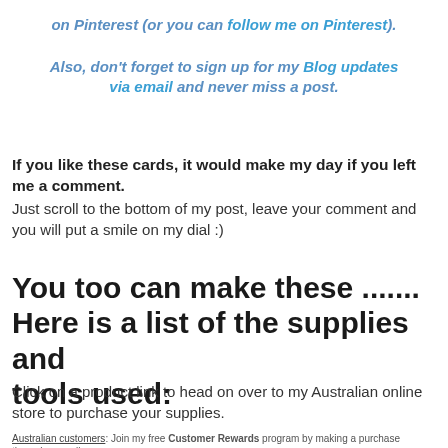on Pinterest (or you can follow me on Pinterest).
Also, don't forget to sign up for my Blog updates via email and never miss a post.
If you like these cards, it would make my day if you left me a comment. Just scroll to the bottom of my post, leave your comment and you will put a smile on my dial :)
You too can make these .......
Here is a list of the supplies and tools used:
Click on a product link to head on over to my Australian online store to purchase your supplies.
Australian customers: Join my free Customer Rewards program by making a purchase through my online